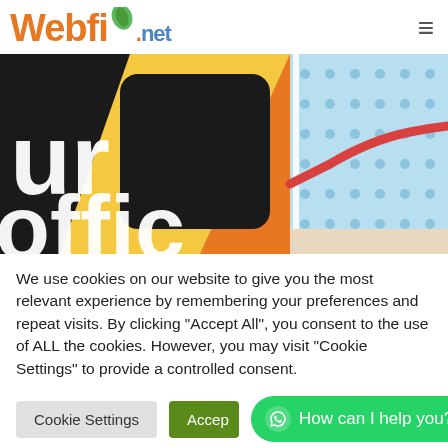[Figure (logo): Webfio.net logo in orange and blue with a green leaf accent, followed by a hamburger menu icon on the right]
[Figure (photo): Banner image showing partial text 'ur' and 'offic' in white on dark background with orange geometric shapes on left, and a light blue dotted chart graphic with a red wavy line on the right]
We use cookies on our website to give you the most relevant experience by remembering your preferences and repeat visits. By clicking "Accept All", you consent to the use of ALL the cookies. However, you may visit "Cookie Settings" to provide a controlled consent.
Cookie Settings | Accept All | How can I help you?